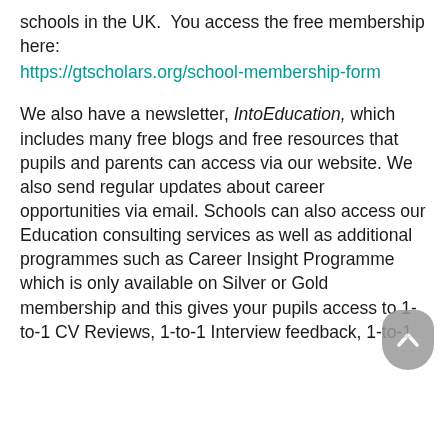schools in the UK.  You access the free membership here:
https://gtscholars.org/school-membership-form
We also have a newsletter, IntoEducation, which includes many free blogs and free resources that pupils and parents can access via our website. We also send regular updates about career opportunities via email. Schools can also access our Education consulting services as well as additional programmes such as Career Insight Programme which is only available on Silver or Gold membership and this gives your pupils access to 1-to-1 CV Reviews, 1-to-1 Interview feedback, 1-to-1